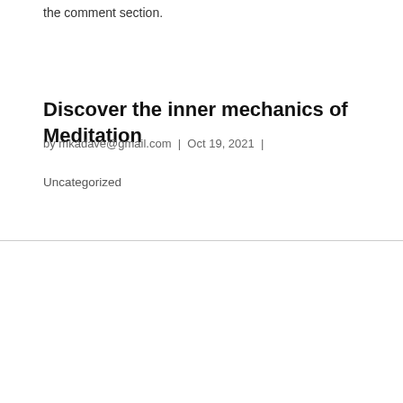the comment section.
Discover the inner mechanics of Meditation
by mkadave@gmail.com | Oct 19, 2021 |
Uncategorized
We use cookies on our website to give you the most relevant experience by remembering your preferences and repeat visits. By clicking “Accept”, you consent to the use of ALL the cookies.
Do not sell my personal information.
Cookie settings  ACCEPT